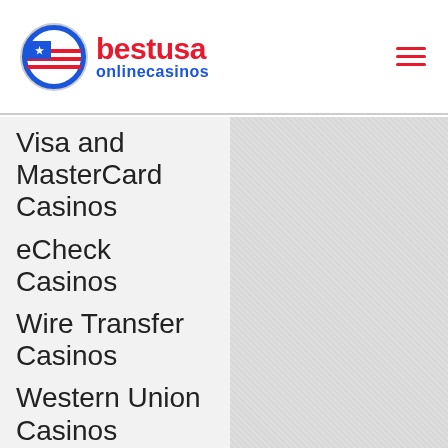bestusa onlinecasinos
Visa and MasterCard Casinos
eCheck Casinos
Wire Transfer Casinos
Western Union Casinos
Bitcoin Casino